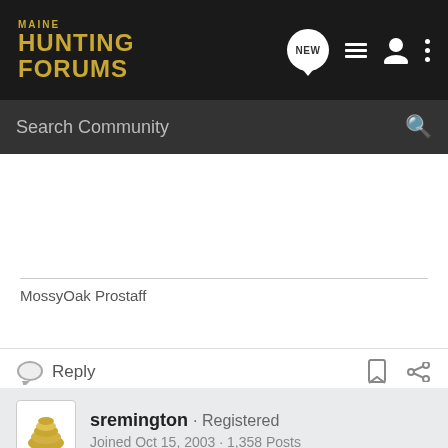MAINE HUNTING FORUMS
Search Community
MossyOak Prostaff
Reply
sremington · Registered
Joined Oct 15, 2003 · 1,358 Posts
#2 • Jan 31, 2006
I'm here, I'm here! :wink:
I fish for whatever bites the end of my line